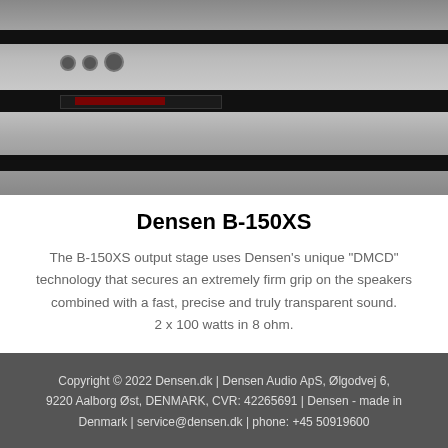[Figure (photo): Close-up photograph of a Densen B-150XS audio amplifier/CD player with silver/grey panel, black display strip showing red digits, and control knobs]
Densen B-150XS
The B-150XS output stage uses Densen's unique "DMCD" technology that secures an extremely firm grip on the speakers combined with a fast, precise and truly transparent sound. 2 x 100 watts in 8 ohm.
Copyright © 2022 Densen.dk | Densen Audio ApS, Ølgodvej 6, 9220 Aalborg Øst, DENMARK, CVR: 42265691 | Densen - made in Denmark | service@densen.dk | phone: +45 50919600